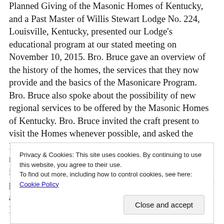Planned Giving of the Masonic Homes of Kentucky, and a Past Master of Willis Stewart Lodge No. 224, Louisville, Kentucky, presented our Lodge's educational program at our stated meeting on November 10, 2015.  Bro. Bruce gave an overview of the history of the homes, the services that they now provide and the basics of the Masonicare Program.  Bro. Bruce also spoke about the possibility of new regional services to be offered by the Masonic Homes of Kentucky.  Bro. Bruce invited the craft present to visit the Homes whenever possible, and asked the Lodge to consider adopting a resident of the homes by remembering that person on holidays, birthdays, and intermittently throughout the year.  Bro. Bruce's presentation was very informative and well received by all present.  At the conclusion of our meeting, our Lodge voted to donate $ 200 to t... M...
Privacy & Cookies: This site uses cookies. By continuing to use this website, you agree to their use.
To find out more, including how to control cookies, see here: Cookie Policy
[Close and accept]